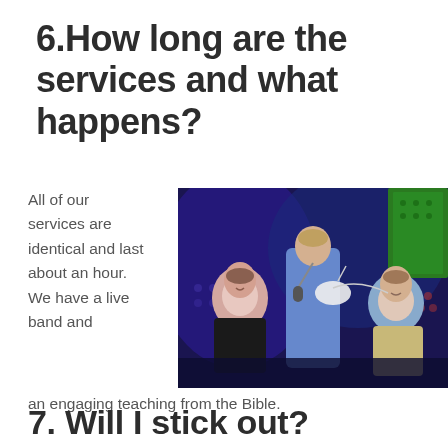6.How long are the services and what happens?
[Figure (photo): Three men on a stage under colorful lights; the center man holds a microphone and an object, flanked by two seated men, all appearing to laugh or smile. Background shows blue and green stage lighting.]
All of our services are identical and last about an hour. We have a live band and an engaging teaching from the Bible.
7. Will I stick out?